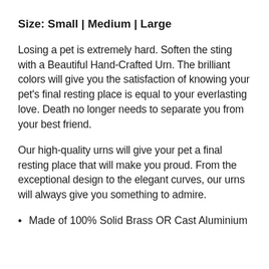Size: Small | Medium | Large
Losing a pet is extremely hard. Soften the sting with a Beautiful Hand-Crafted Urn. The brilliant colors will give you the satisfaction of knowing your pet’s final resting place is equal to your everlasting love. Death no longer needs to separate you from your best friend.
Our high-quality urns will give your pet a final resting place that will make you proud. From the exceptional design to the elegant curves, our urns will always give you something to admire.
Made of 100% Solid Brass OR Cast Aluminium